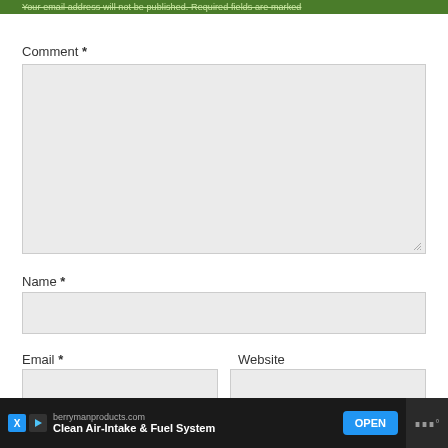Your email address will not be published. Required fields are marked
Comment *
[Figure (screenshot): Comment text area input box, large empty grey rectangle with resize handle at bottom right]
Name *
[Figure (screenshot): Name text input field, empty grey rectangle]
Email *
Website
[Figure (screenshot): Email text input field, empty grey rectangle]
[Figure (screenshot): Website text input field, empty grey rectangle]
[Figure (screenshot): Advertisement banner: berrymanproducts.com - Clean Air-Intake & Fuel System with OPEN button]